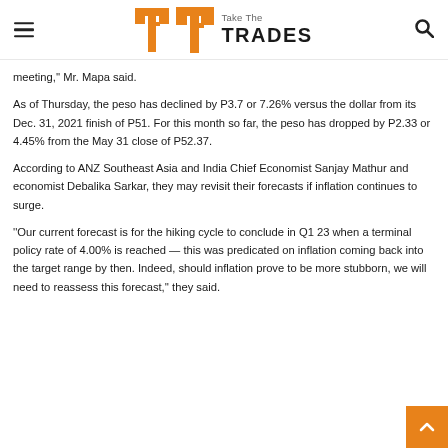Take The TRADES
meeting," Mr. Mapa said.
As of Thursday, the peso has declined by P3.7 or 7.26% versus the dollar from its Dec. 31, 2021 finish of P51. For this month so far, the peso has dropped by P2.33 or 4.45% from the May 31 close of P52.37.
According to ANZ Southeast Asia and India Chief Economist Sanjay Mathur and economist Debalika Sarkar, they may revisit their forecasts if inflation continues to surge.
"Our current forecast is for the hiking cycle to conclude in Q1 23 when a terminal policy rate of 4.00% is reached — this was predicated on inflation coming back into the target range by then. Indeed, should inflation prove to be more stubborn, we will need to reassess this forecast," they said.